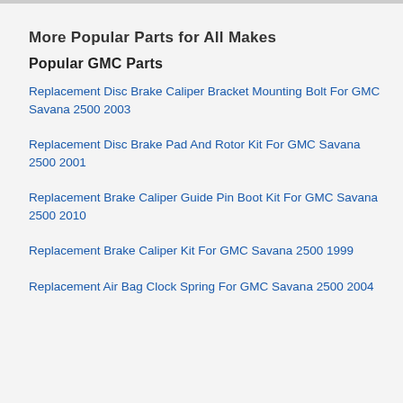More Popular Parts for All Makes
Popular GMC Parts
Replacement Disc Brake Caliper Bracket Mounting Bolt For GMC Savana 2500 2003
Replacement Disc Brake Pad And Rotor Kit For GMC Savana 2500 2001
Replacement Brake Caliper Guide Pin Boot Kit For GMC Savana 2500 2010
Replacement Brake Caliper Kit For GMC Savana 2500 1999
Replacement Air Bag Clock Spring For GMC Savana 2500 2004